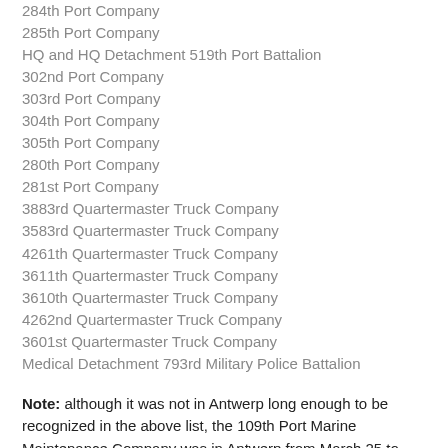284th Port Company
285th Port Company
HQ and HQ Detachment 519th Port Battalion
302nd Port Company
303rd Port Company
304th Port Company
305th Port Company
280th Port Company
281st Port Company
3883rd Quartermaster Truck Company
3583rd Quartermaster Truck Company
4261th Quartermaster Truck Company
3611th Quartermaster Truck Company
3610th Quartermaster Truck Company
4262nd Quartermaster Truck Company
3601st Quartermaster Truck Company
Medical Detachment 793rd Military Police Battalion
Note: although it was not in Antwerp long enough to be recognized in the above list, the 109th Port Marine Maintenance Company was in Antwerp from March 25 to mid-June 1945. The company was in the 1st and the Port and…